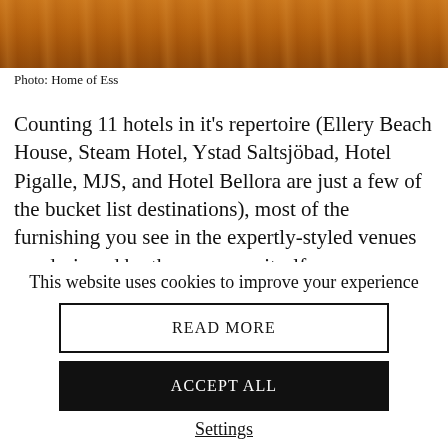[Figure (photo): Wooden surface photograph at the top of the page, warm brown tones]
Photo: Home of Ess
Counting 11 hotels in it's repertoire (Ellery Beach House, Steam Hotel, Ystad Saltsjöbad, Hotel Pigalle, MJS, and Hotel Bellora are just a few of the bucket list destinations), most of the furnishing you see in the expertly-styled venues are designed by the company itself.
On Home of Ess you'll therefore find these exclusive items as well as a selection of designer brands that are integral to the
This website uses cookies to improve your experience
READ MORE
ACCEPT ALL
Settings